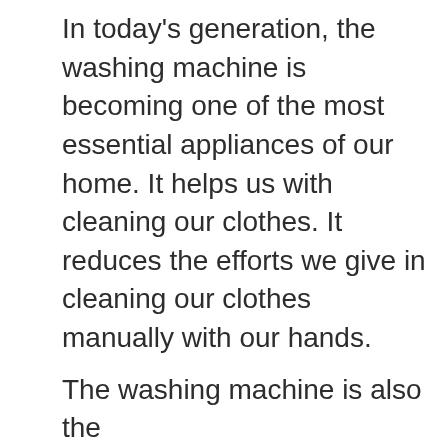In today's generation, the washing machine is becoming one of the most essential appliances of our home. It helps us with cleaning our clothes. It reduces the efforts we give in cleaning our clothes manually with our hands.
The washing machine is also the...